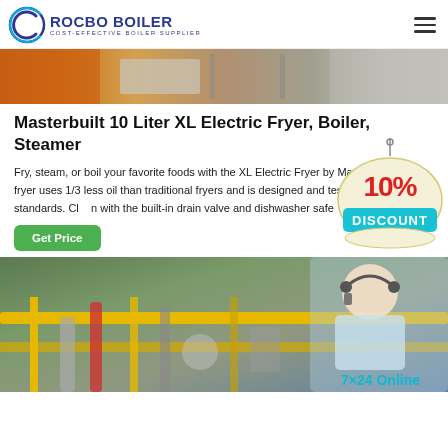ROCBO BOILER — COST-EFFECTIVE BOILER SUPPLIER
[Figure (photo): Partial hero image showing industrial kitchen/boiler equipment in orange and silver tones]
Masterbuilt 10 Liter XL Electric Fryer, Boiler, Steamer
Fry, steam, or boil your favorite foods with the XL Electric Fryer by Masterbuilt. The fryer uses 1/3 less oil than traditional fryers and is designed and tested to commercial standards. Cl... with the built-in drain valve and dishwasher safe...
[Figure (illustration): 10% DISCOUNT promotional badge with a customer service representative (woman with headset)]
[Figure (photo): Industrial boiler room with yellow railings, pipes, and equipment. 7x24 Online text overlay at bottom right.]